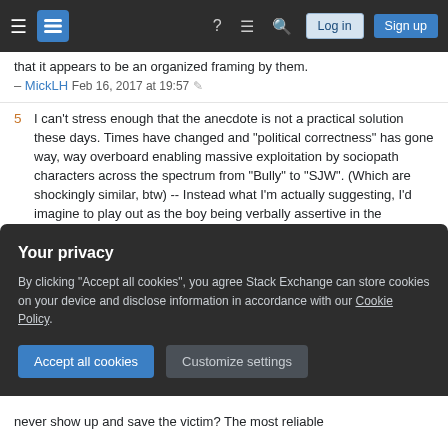Stack Exchange navigation bar with Log in and Sign up buttons
that it appears to be an organized framing by them. – MickLH Feb 16, 2017 at 19:57
5  I can't stress enough that the anecdote is not a practical solution these days. Times have changed and "political correctness" has gone way, way overboard enabling massive exploitation by sociopath characters across the spectrum from "Bully" to "SJW". (Which are shockingly similar, btw) -- Instead what I'm actually suggesting, I'd imagine to play out as the boy being verbally assertive in the moments he feels unwelcome or isolated. Simply stating clearly that their actions are unacceptable. – MickLH Feb 16, 2017 at 20:00
Your privacy
By clicking "Accept all cookies", you agree Stack Exchange can store cookies on your device and disclose information in accordance with our Cookie Policy.
never show up and save the victim? The most reliable